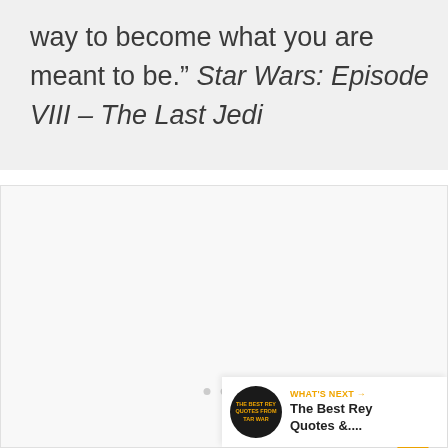way to become what you are meant to be." Star Wars: Episode VIII – The Last Jedi
[Figure (other): Image placeholder area with navigation dots and interactive like/share buttons on the right side. A 'What's Next' panel in the bottom-right corner shows a thumbnail and link to 'The Best Rey Quotes &...']